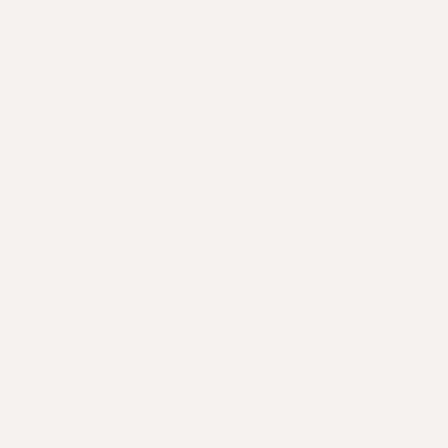[Figure (photo): Photo of what appears to be a gingerbread house or holiday display with candy decorations]
endless to-do-lists and frenzi... secret is taking short cuts an... sessions and feel too drained... not feel obligated to attend e...
If you are usually the one h... others know in advance th... dinner could rotate every y...
One divorced n... chained to the...
Bundle tasks together to fr... movie on the telly with my ... get a chore done while par...
Cheating is okay. Not ever... or single product from a va... homemade or best flavour...